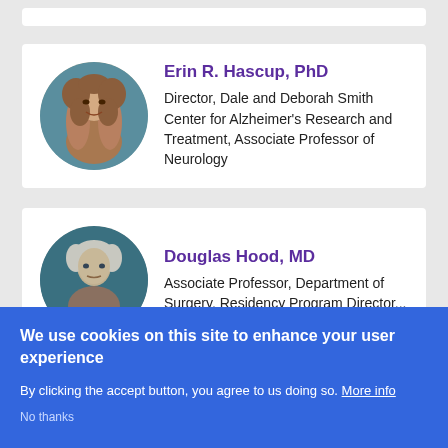[Figure (photo): Profile card for Erin R. Hascup with circular photo]
Erin R. Hascup, PhD
Director, Dale and Deborah Smith Center for Alzheimer's Research and Treatment, Associate Professor of Neurology
[Figure (photo): Profile card for Douglas Hood with circular photo]
Douglas Hood, MD
Associate Professor, Department of Surgery, Residency Program Director...
We use cookies on this site to enhance your user experience
By clicking the accept button, you agree to us doing so. More info
No thanks